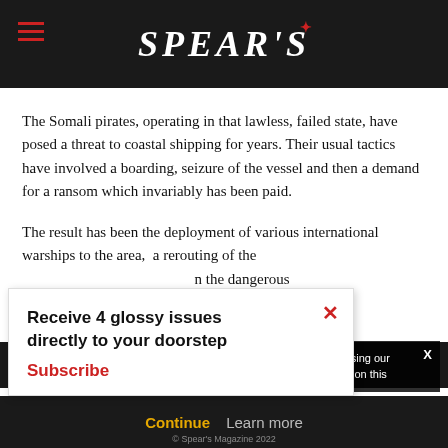SPEAR'S
The Somali pirates, operating in that lawless, failed state, have posed a threat to coastal shipping for years. Their usual tactics have involved a boarding, seizure of the vessel and then a demand for a ransom which invariably has been paid.
The result has been the deployment of various international warships to the area, and a rerouting of the [traffic away from] the dangerous [waters, written] in small [boats].
Receive 4 glossy issues directly to your doorstep Subscribe
continue using our all cookies on this
Continue   Learn more